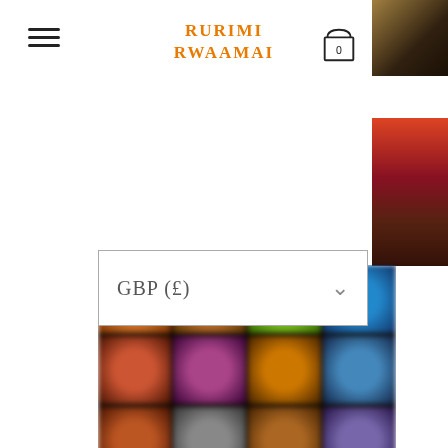RURIMI RWAAMAI
[Figure (screenshot): Currency selector dropdown showing GBP (£) with chevron, overlaid on an e-commerce product grid page for Rurimi Rwaamai store]
[Figure (photo): Blurred product thumbnails on the right side of the page]